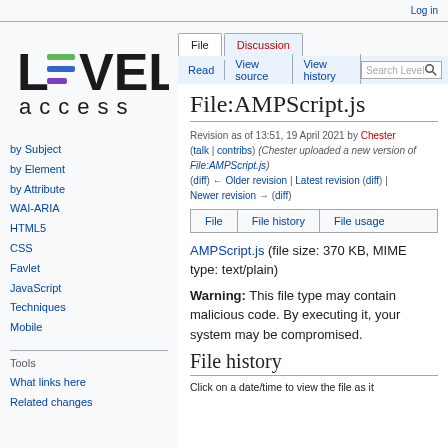Log in
[Figure (logo): Level Access logo with stylized L=VEL text and colored underlines, 'access' text below]
File | Discussion | Read | View source | View history | Search Level
File:AMPScript.js
Revision as of 13:51, 19 April 2021 by Chester (talk | contribs) (Chester uploaded a new version of File:AMPScript.js) (diff) ← Older revision | Latest revision (diff) | Newer revision → (diff)
| File | File history | File usage |
| --- | --- | --- |
AMPScript.js (file size: 370 KB, MIME type: text/plain)
Warning: This file type may contain malicious code. By executing it, your system may be compromised.
by Subject
by Element
by Attribute
WAI-ARIA
HTML5
CSS
Favlet
JavaScript
Techniques
Mobile
Tools
What links here
Related changes
File history
Click on a date/time to view the file as it